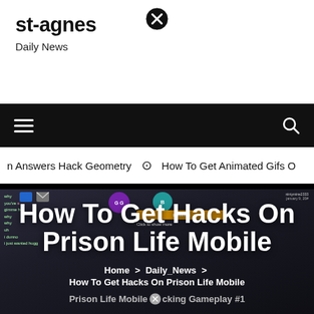st-agnes
Daily News
[Figure (screenshot): Navigation bar with hamburger menu icon on left and search icon on right, black background]
n Answers Hack Geometry  ⊙ How To Get Animated Gifs O
[Figure (screenshot): Mobile game screenshot showing Prison Life Roblox game with chat overlay, player icons, orange bar with 'breakfast' label, 'Click to show more' text]
How To Get Hacks On Prison Life Mobile
Home > Daily_News > How To Get Hacks On Prison Life Mobile
Prison Life Mobile ⊗cking Gameplay #1